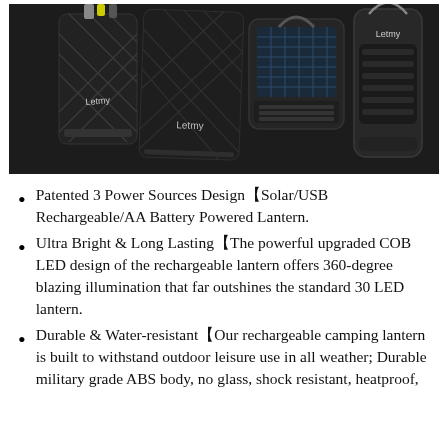[Figure (photo): Product photo of Letmy brand camping lanterns and power banks on a dark background. Shows several black devices with cross-hatch texture, a solar panel lantern in the center, and a cylindrical lantern on the right with the Letmy logo.]
Patented 3 Power Sources Design【Solar/USB Rechargeable/AA Battery Powered Lantern.
Ultra Bright & Long Lasting【The powerful upgraded COB LED design of the rechargeable lantern offers 360-degree blazing illumination that far outshines the standard 30 LED lantern.
Durable & Water-resistant【Our rechargeable camping lantern is built to withstand outdoor leisure use in all weather; Durable military grade ABS body, no glass, shock resistant, heatproof,